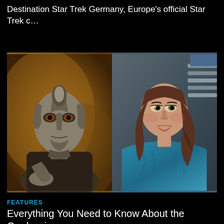Destination Star Trek Germany, Europe's official Star Trek c…
[Figure (photo): Split image: left side shows a Cardassian alien character with textured grey facial ridges in dramatic warm lighting; right side shows a woman with long brown hair wearing a teal/blue top, looking to the side in a Star Trek setting]
FEATURES
Everything You Need to Know About the Cardassians
As the Sta